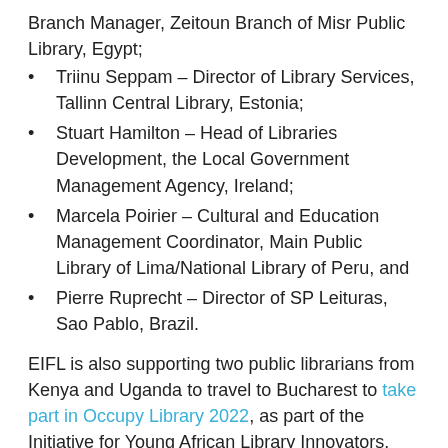Branch Manager, Zeitoun Branch of Misr Public Library, Egypt;
Triinu Seppam – Director of Library Services, Tallinn Central Library, Estonia;
Stuart Hamilton – Head of Libraries Development, the Local Government Management Agency, Ireland;
Marcela Poirier – Cultural and Education Management Coordinator, Main Public Library of Lima/National Library of Peru, and
Pierre Ruprecht – Director of SP Leituras, Sao Pablo, Brazil.
EIFL is also supporting two public librarians from Kenya and Uganda to travel to Bucharest to take part in Occupy Library 2022, as part of the Initiative for Young African Library Innovators.